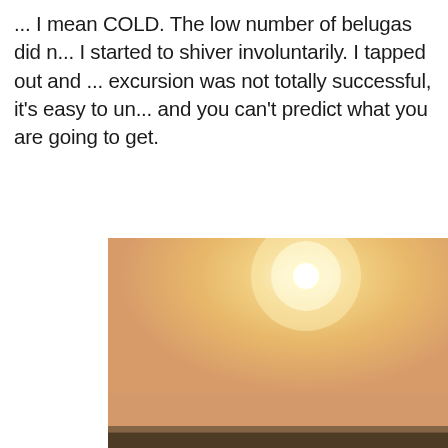... I mean COLD. The low number of belugas did not help. I started to shiver involuntarily. I tapped out and ... If the excursion was not totally successful, it's easy to understand and you can't predict what you are going to get.
[Figure (photo): A hazy outdoor photograph showing a pale golden sky with a bright white sun visible near the upper center. The horizon shows a dark landmass or water surface at the bottom of the image. The overall tone is warm golden-orange with atmospheric haze.]